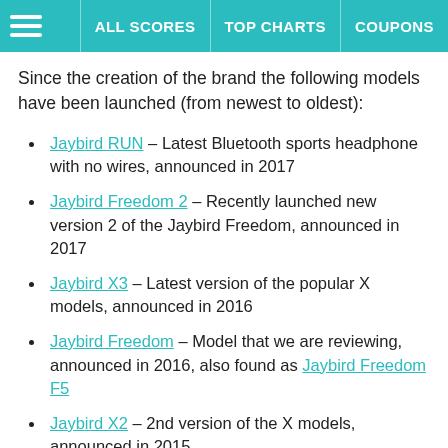ALL SCORES  TOP CHARTS  COUPONS
Since the creation of the brand the following models have been launched (from newest to oldest):
Jaybird RUN – Latest Bluetooth sports headphone with no wires, announced in 2017
Jaybird Freedom 2 – Recently launched new version 2 of the Jaybird Freedom, announced in 2017
Jaybird X3 – Latest version of the popular X models, announced in 2016
Jaybird Freedom – Model that we are reviewing, announced in 2016, also found as Jaybird Freedom F5
Jaybird X2 – 2nd version of the X models, announced in 2015
Jaybird BLUEBUDS X – First X model that gave birth to the X line, announced in 2013
Jaybird FREEDOM SPRINT – announced in 2011